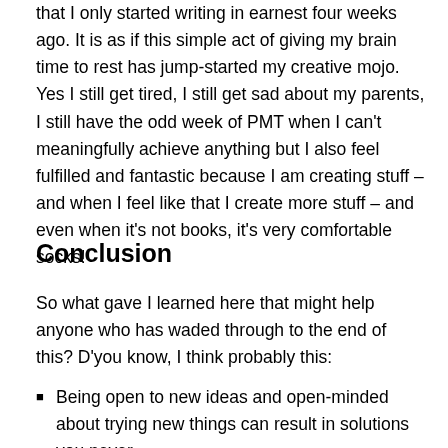that I only started writing in earnest four weeks ago. It is as if this simple act of giving my brain time to rest has jump-started my creative mojo. Yes I still get tired, I still get sad about my parents, I still have the odd week of PMT when I can't meaningfully achieve anything but I also feel fulfilled and fantastic because I am creating stuff – and when I feel like that I create more stuff – and even when it's not books, it's very comfortable socks!
Conclusion
So what gave I learned here that might help anyone who has waded through to the end of this? D'you know, I think probably this:
Being open to new ideas and open-minded about trying new things can result in solutions you never